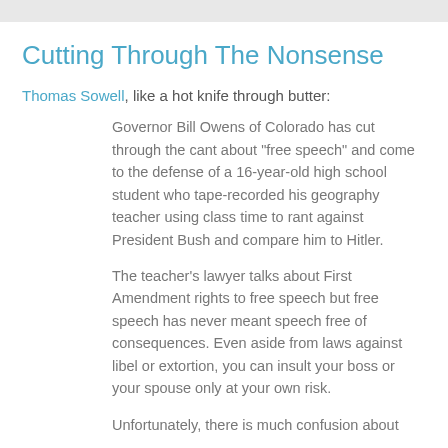Cutting Through The Nonsense
Thomas Sowell, like a hot knife through butter:
Governor Bill Owens of Colorado has cut through the cant about "free speech" and come to the defense of a 16-year-old high school student who tape-recorded his geography teacher using class time to rant against President Bush and compare him to Hitler.
The teacher's lawyer talks about First Amendment rights to free speech but free speech has never meant speech free of consequences. Even aside from laws against libel or extortion, you can insult your boss or your spouse only at your own risk.
Unfortunately, there is much confusion about